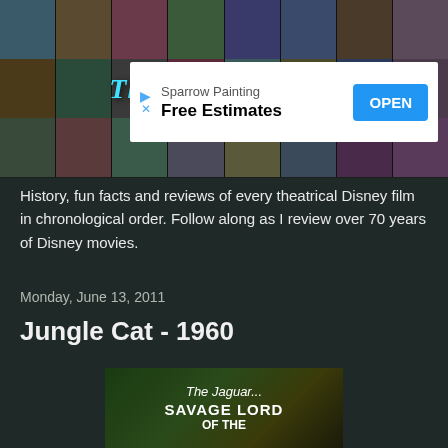[Figure (photo): Header collage of Disney film stills with The Disney Films logo overlaid in cyan italic text]
[Figure (screenshot): Advertisement banner for Sparrow Painting with Free Estimates text and blue OPEN button]
History, fun facts and reviews of every theatrical Disney film in chronological order. Follow along as I review over 70 years of Disney movies.
Monday, June 13, 2011
Jungle Cat - 1960
[Figure (photo): Movie still from Jungle Cat showing The Jaguar... SAVAGE LORD OF THE text overlay on a dark jungle background]